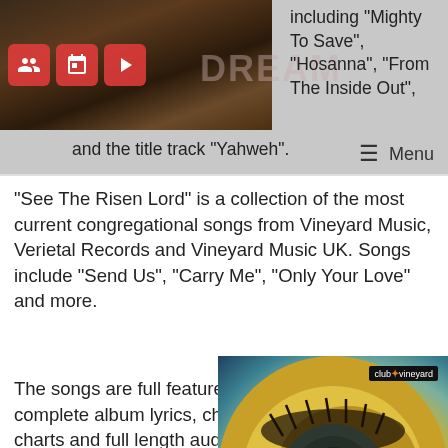[Figure (photo): Concert/event photo with red icon buttons overlay (people icon, calendar icon, play button icon)]
including “Mighty To Save”, “Hosanna”, “From The Inside Out”, and the title track “Yahweh”.
≡  Menu
“See The Risen Lord” is a collection of the most current congregational songs from Vineyard Music, Verietal Records and Vineyard Music UK. Songs include “Send Us”, “Carry Me”, “Only Your Love” and more.
The songs are full featured with complete album lyrics, chord charts and full length audio. Check out these great new songs, hear them in the original key,
[Figure (photo): Album cover showing a close-up of an eye with yellow/blue artistic coloring. Club Vineyard logo in top right corner.]